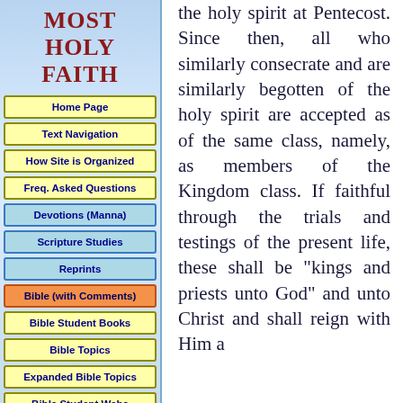MOST HOLY FAITH
Home Page
Text Navigation
How Site is Organized
Freq. Asked Questions
Devotions (Manna)
Scripture Studies
Reprints
Bible (with Comments)
Bible Student Books
Bible Topics
Expanded Bible Topics
Bible Student Webs
Miscellaneous
the holy spirit at Pentecost. Since then, all who similarly consecrate and are similarly begotten of the holy spirit are accepted as of the same class, namely, as members of the Kingdom class. If faithful through the trials and testings of the present life, these shall be "kings and priests unto God" and unto Christ and shall reign with Him a